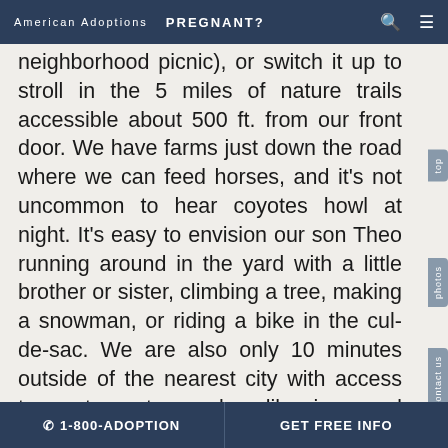American Adoptions   PREGNANT?
neighborhood picnic), or switch it up to stroll in the 5 miles of nature trails accessible about 500 ft. from our front door. We have farms just down the road where we can feed horses, and it's not uncommon to hear coyotes howl at night. It's easy to envision our son Theo running around in the yard with a little brother or sister, climbing a tree, making a snowman, or riding a bike in the cul-de-sac. We are also only 10 minutes outside of the nearest city with access to restaurants, parks, libraries, and museums.
Our house has lots of space- a total of 4 bedrooms, we have the new baby's room all
☎ 1-800-ADOPTION   GET FREE INFO